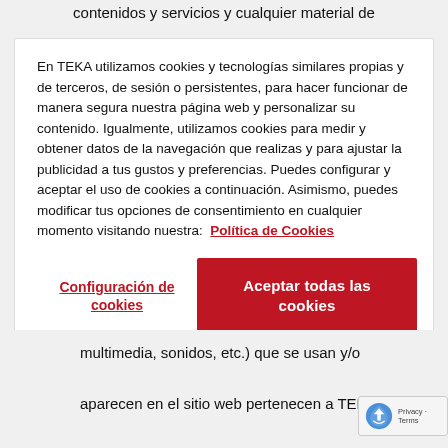contenidos y servicios y cualquier material de
En TEKA utilizamos cookies y tecnologías similares propias y de terceros, de sesión o persistentes, para hacer funcionar de manera segura nuestra página web y personalizar su contenido. Igualmente, utilizamos cookies para medir y obtener datos de la navegación que realizas y para ajustar la publicidad a tus gustos y preferencias. Puedes configurar y aceptar el uso de cookies a continuación. Asimismo, puedes modificar tus opciones de consentimiento en cualquier momento visitando nuestra: Política de Cookies
Configuración de cookies
Aceptar todas las cookies
multimedia, sonidos, etc.) que se usan y/o aparecen en el sitio web pertenecen a TEKA INDUSTRIAL, S.A. o han sido incluidos en el sitio